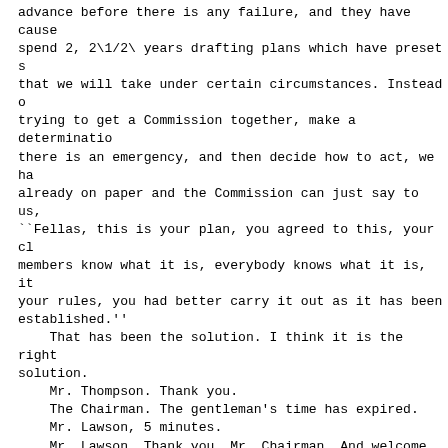advance before there is any failure, and they have caused us to spend 2, 2\1/2\ years drafting plans which have preset steps that we will take under certain circumstances. Instead of trying to get a Commission together, make a determination there is an emergency, and then decide how to act, we have it already on paper and the Commission can just say to us, ``Fellas, this is your plan, you agreed to this, your clearing members know what it is, everybody knows what it is, it is your rules, you had better carry it out as it has been established.''
    That has been the solution. I think it is the right solution.
    Mr. Thompson. Thank you.
    The Chairman. The gentleman's time has expired.
    Mr. Lawson, 5 minutes.
    Mr. Lawson. Thank you, Mr. Chairman. And welcome to the Committee.
    Probably 2 weeks ago there was a considerable amount, I understand you don't want to get into the political aspects of it, but a considerable amount of concern coming from the banking community about overturning Dodd-Frank. Mr. Gerety, I understood your comments earlier you said that Dodd-Frank was not implemented to prevent another financial crisis, but to mitigate the impact of another financial crisis that we may have on our economy. Please describe the role that a clearinghouse may have in helping to mitigate the impact of another financial crisis.
    Mr. Gerety. Thank you. I think that is a very important point that you make, Representative Lawson, that while it is all of our intentions and hopes that financial crises are